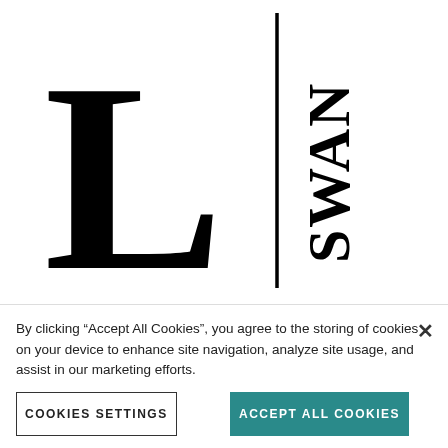[Figure (illustration): Large monogram/logo showing a serif letter L on the left, a vertical dividing line in the center, and the text SWAN rotated 90 degrees on the right side, all in black on white background.]
Stacked Monogram Custom Stamp
By clicking "Accept All Cookies", you agree to the storing of cookies on your device to enhance site navigation, analyze site usage, and assist in our marketing efforts.
COOKIES SETTINGS
ACCEPT ALL COOKIES